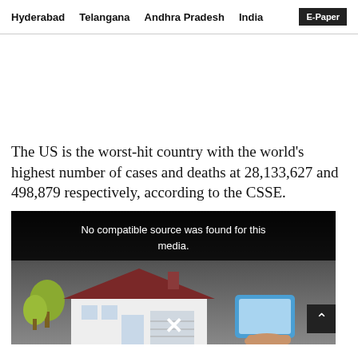Hyderabad   Telangana   Andhra Pradesh   India   E-Paper
The US is the worst-hit country with the world's highest number of cases and deaths at 28,133,627 and 498,879 respectively, according to the CSSE.
[Figure (screenshot): Video player showing an illustration of a house with a person holding a tablet. Overlay message reads: No compatible source was found for this media. A close/X button is visible at the bottom center.]